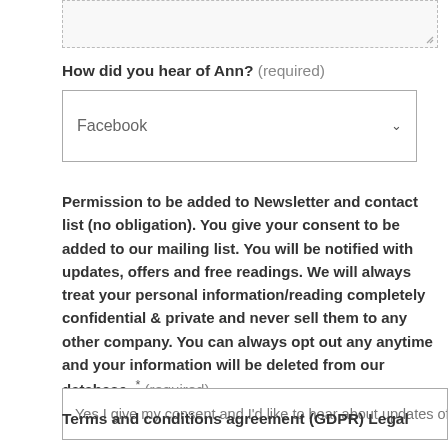[Figure (other): Textarea input stub (top portion of a text area form field, partially visible)]
How did you hear of Ann? (required)
[Figure (other): Dropdown select field showing 'Facebook' with a dropdown arrow]
Permission to be added to Newsletter and contact list (no obligation). You give your consent to be added to our mailing list. You will be notified with updates, offers and free readings. We will always treat your personal information/reading completely confidential & private and never sell them to any other company. You can always opt out any anytime and your information will be deleted from our database. * (required)
[Figure (other): Dropdown/select field showing 'Yes I give my consent and I'd like to hear about updates offe...' (text truncated)]
Terms and conditions agreement (GDPR) Legal